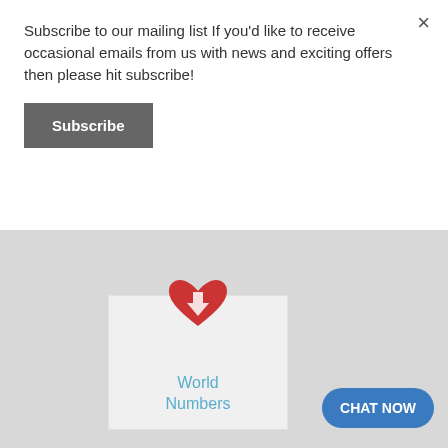Subscribe to our mailing list If you'd like to receive occasional emails from us with news and exciting offers then please hit subscribe!
Subscribe
×
[Figure (illustration): Red heart/love icon partially visible at top of World Numbers card]
World
Numbers
[Figure (illustration): Yellow globe/internet icon inside Internet card]
Internet
CHAT NOW